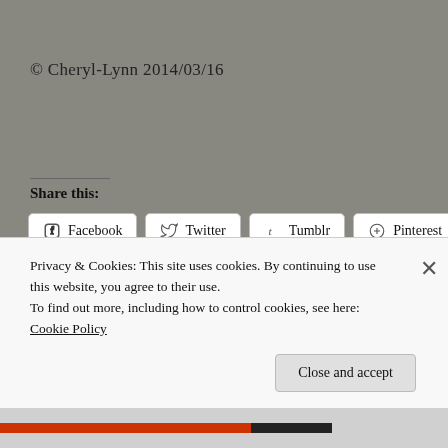© Cheryl-Lynn 2014/03/16
Share this:
[Figure (screenshot): Social share buttons: Facebook, Twitter, Tumblr, Pinterest (row 1); Reddit, Print, Email, LinkedIn (row 2)]
Privacy & Cookies: This site uses cookies. By continuing to use this website, you agree to their use.
To find out more, including how to control cookies, see here: Cookie Policy
Close and accept